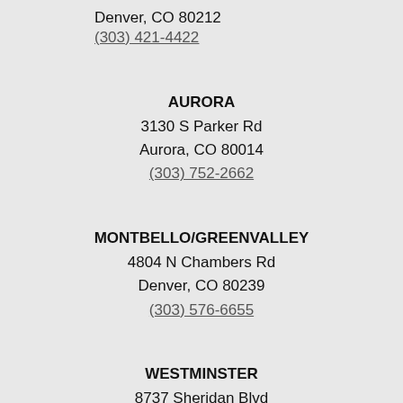Denver, CO 80212
(303) 421-4422
AURORA
3130 S Parker Rd
Aurora, CO 80014
(303) 752-2662
MONTBELLO/GREENVALLEY
4804 N Chambers Rd
Denver, CO 80239
(303) 576-6655
WESTMINSTER
8737 Sheridan Blvd
Westminster, CO 80003
(303) 412-6570